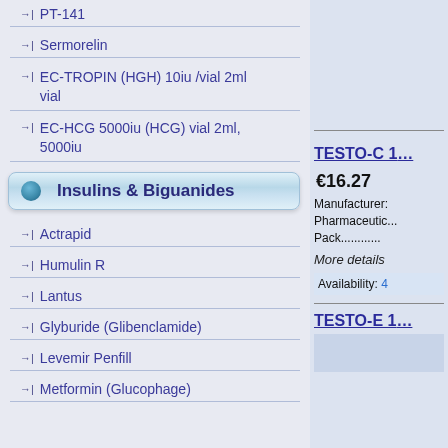PT-141
Sermorelin
EC-TROPIN (HGH) 10iu /vial 2ml vial
EC-HCG 5000iu (HCG) vial 2ml, 5000iu
Insulins & Biguanides
Actrapid
Humulin R
Lantus
Glyburide (Glibenclamide)
Levemir Penfill
Metformin (Glucophage)
TESTO-C 1...
€16.27
Manufacturer: Pharmaceutical Pack...........
More details
Availability: 4
TESTO-E 1...